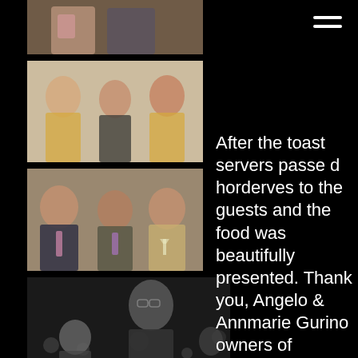[Figure (photo): Party event photo at top: two women standing together, one in pink scarf, one in dark top, holding drinks]
[Figure (photo): Event photo: three women smiling together, leftmost in yellow blazer, center in black, right in beige blazer]
[Figure (photo): Event photo: man in suit and tie on left, man in suit center, woman in beige blazer on right holding champagne]
[Figure (photo): Black and white event photo: man in glasses in background, woman and crowd in foreground with bokeh lights]
After the toast servers passed horderves to the guests and the food was  beautifully presented. Thank you, Angelo & Annmarie Gurino owners of Ragtime Gourmet for